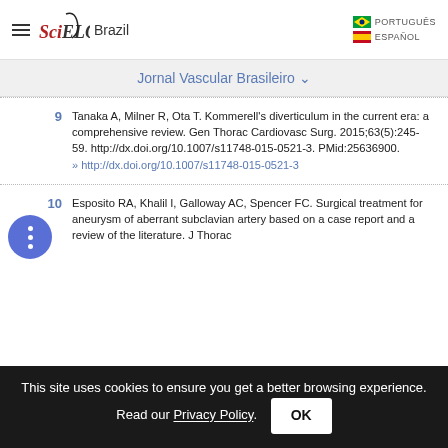SciELO Brazil — PORTUGUÊS / ESPAÑOL
Jornal Vascular Brasileiro
9  Tanaka A, Milner R, Ota T. Kommerell's diverticulum in the current era: a comprehensive review. Gen Thorac Cardiovasc Surg. 2015;63(5):245-59. http://dx.doi.org/10.1007/s11748-015-0521-3. PMid:25636900. » http://dx.doi.org/10.1007/s11748-015-0521-3
10  Esposito RA, Khalil I, Galloway AC, Spencer FC. Surgical treatment for aneurysm of aberrant subclavian artery based on a case report and a review of the literature. J Thorac
This site uses cookies to ensure you get a better browsing experience. Read our Privacy Policy.